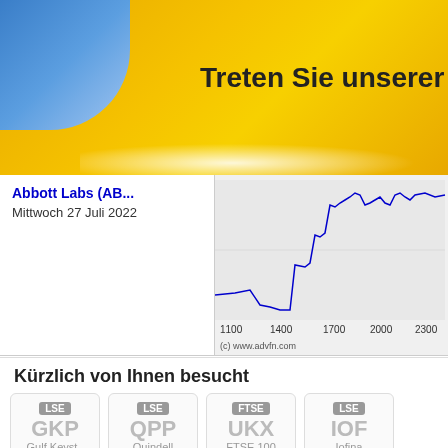[Figure (screenshot): ADVFN banner with yellow/gold background and blue corner accent, text 'Treten Sie unserer Gemeinsha...']
Abbott Labs (AB...
Mittwoch 27 Juli 2022
[Figure (continuous-plot): Stock price line chart for Abbott Labs, x-axis: 1100, 1400, 1700, 2000, 2300; y-axis: 101, 101.5; source: (c) www.advfn.com]
Kürzlich von Ihnen besucht
[Figure (screenshot): Four ticker cards: GKP (LSE, Gulf Keyst..), QPP (LSE, Quindell), UKX (FTSE, FTSE 100), IOF (LSE, Iofina)]
Stocks you've viewed will appear in this box, letting you easily...
Register now to create your own custom streaming stock watc...
Melden Sie sich bei ADVFN an